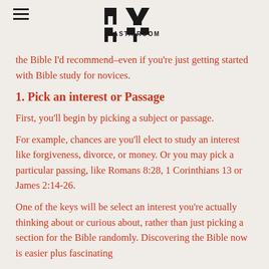MY PASTA ROOM (logo)
the Bible I’d recommend–even if you’re just getting started with Bible study for novices.
1. Pick an interest or Passage
First, you’ll begin by picking a subject or passage.
For example, chances are you’ll elect to study an interest like forgiveness, divorce, or money. Or you may pick a particular passing, like Romans 8:28, 1 Corinthians 13 or James 2:14-26.
One of the keys will be select an interest you’re actually thinking about or curious about, rather than just picking a section for the Bible randomly. Discovering the Bible now is easier plus fascinating